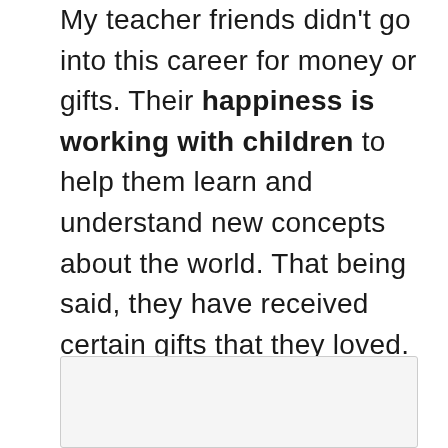My teacher friends didn't go into this career for money or gifts. Their happiness is working with children to help them learn and understand new concepts about the world. That being said, they have received certain gifts that they loved. A mug that a child made, or an ornament. One friend received a tote bag with a student's artwork on it that she treasures to this day.
[Figure (other): Light gray rounded rectangle box at the bottom of the page]